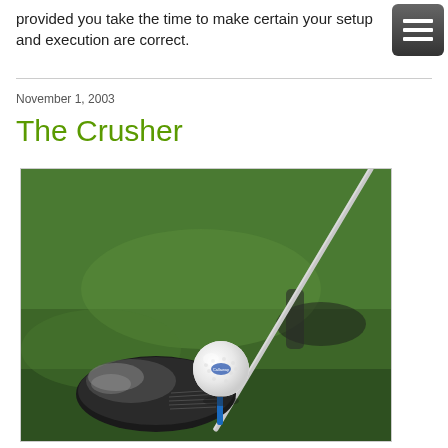provided you take the time to make certain your setup and execution are correct.
November 1, 2003
The Crusher
[Figure (photo): Close-up photo of a golf driver club head and a Callaway golf ball on a blue tee, with green grass background and another club visible in the background.]